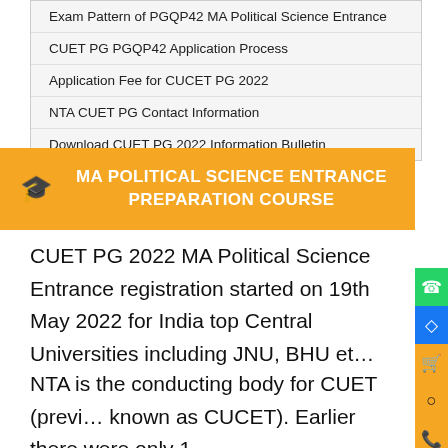Exam Pattern of PGQP42 MA Political Science Entrance
CUET PG PGQP42 Application Process
Application Fee for CUCET PG 2022
NTA CUET PG Contact Information
Download CUET PG 2022 Information Bulletin
MA POLITICAL SCIENCE ENTRANCE PREPARATION COURSE
CUET PG 2022 MA Political Science Entrance registration started on 19th May 2022 for India top Central Universities including JNU, BHU etc.
NTA is the conducting body for CUET (previously known as CUCET). Earlier there were only 1...